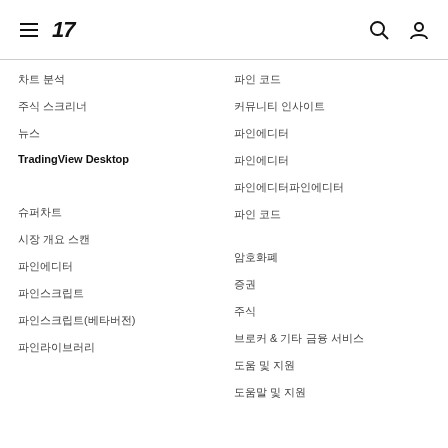TradingView menu navigation header
차트 분석
주식 스크리너
뉴스
TradingView Desktop
슈퍼차트
시장 개요 스캔
파인에디터
파인스크립트
파인 코드 마켓플레이스
파인 코드 마켓플레이스
암호화폐
커뮤니티 인사이트
증권
주식
외환
선물
선물
브로커 & 기타 금융 서비스
주식 스크리너
도움 및 지원